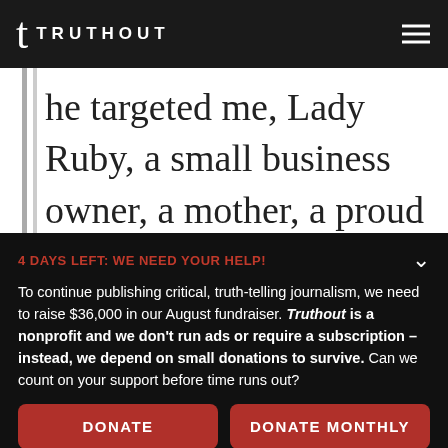TRUTHOUT
he targeted me, Lady Ruby, a small business owner, a mother, a proud American citizen, who stand up to
4 DAYS LEFT: WE NEED YOUR HELP!
To continue publishing critical, truth-telling journalism, we need to raise $36,000 in our August fundraiser. Truthout is a nonprofit and we don't run ads or require a subscription – instead, we depend on small donations to survive. Can we count on your support before time runs out?
DONATE
DONATE MONTHLY